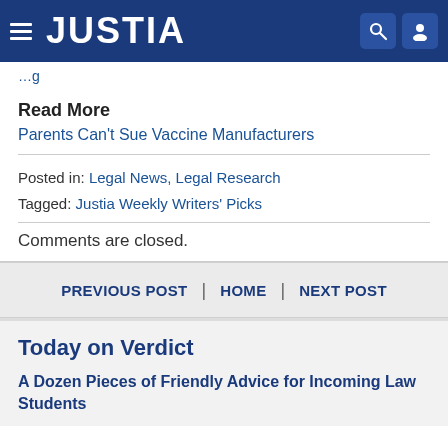JUSTIA
...g
Read More
Parents Can't Sue Vaccine Manufacturers
Posted in: Legal News, Legal Research
Tagged: Justia Weekly Writers' Picks
Comments are closed.
PREVIOUS POST | HOME | NEXT POST
Today on Verdict
A Dozen Pieces of Friendly Advice for Incoming Law Students